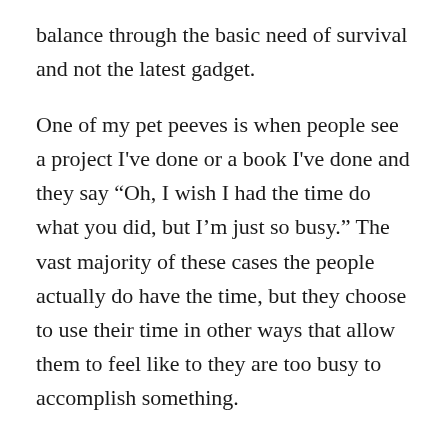balance through the basic need of survival and not the latest gadget.
One of my pet peeves is when people see a project I've done or a book I've done and they say “Oh, I wish I had the time do what you did, but I’m just so busy.” The vast majority of these cases the people actually do have the time, but they choose to use their time in other ways that allow them to feel like to they are too busy to accomplish something.